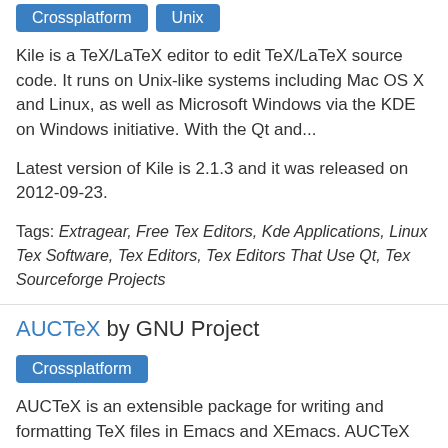Crossplatform
Unix
Kile is a TeX/LaTeX editor to edit TeX/LaTeX source code. It runs on Unix-like systems including Mac OS X and Linux, as well as Microsoft Windows via the KDE on Windows initiative. With the Qt and...
Latest version of Kile is 2.1.3 and it was released on 2012-09-23.
Tags: Extragear, Free Tex Editors, Kde Applications, Linux Tex Software, Tex Editors, Tex Editors That Use Qt, Tex Sourceforge Projects
AUCTeX by GNU Project
Crossplatform
AUCTeX is an extensible package for writing and formatting TeX files in Emacs and XEmacs. AUCTeX provides syntax